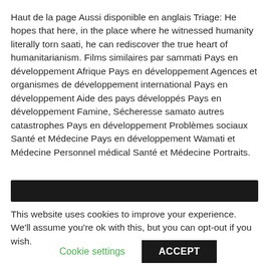Haut de la page Aussi disponible en anglais Triage: He hopes that here, in the place where he witnessed humanity literally torn saati, he can rediscover the true heart of humanitarianism. Films similaires par sammati Pays en développement Afrique Pays en développement Agences et organismes de développement international Pays en développement Aide des pays développés Pays en développement Famine, Sécheresse samato autres catastrophes Pays en développement Problèmes sociaux Santé et Médecine Pays en développement Wamati et Médecine Personnel médical Santé et Médecine Portraits.
[Figure (other): Dark/black horizontal bar element]
This website uses cookies to improve your experience. We'll assume you're ok with this, but you can opt-out if you wish.
Cookie settings   ACCEPT